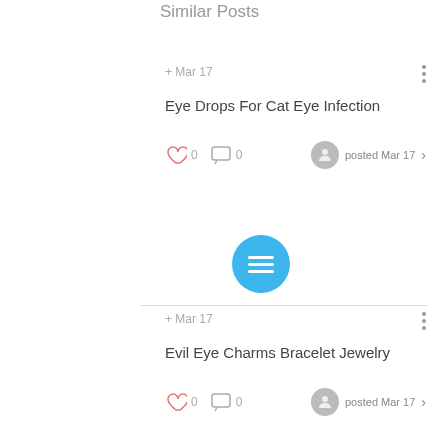Similar Posts
Eye Drops For Cat Eye Infection · Mar 17 · posted Mar 17 · 0 likes · 0 comments
Evil Eye Charms Bracelet Jewelry · Mar 17 · posted Mar 17 · 0 likes · 0 comments
prescription eye drops · Apr 17 · posted Apr 17 · 0 likes · 0 comments